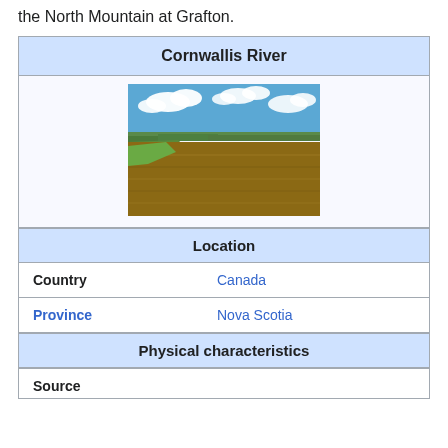the North Mountain at Grafton.
| Cornwallis River |  |
| [photo of river] |  |
| Location |  |
| Country | Canada |
| Province | Nova Scotia |
| Physical characteristics |  |
| Source |  |
[Figure (photo): Photo of the Cornwallis River showing brown muddy water with green riverbanks, trees in the background, and a blue sky with clouds.]